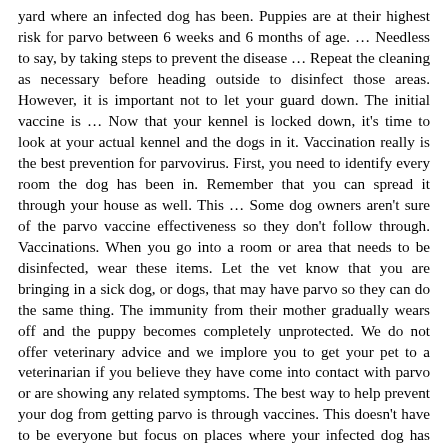yard where an infected dog has been. Puppies are at their highest risk for parvo between 6 weeks and 6 months of age. … Needless to say, by taking steps to prevent the disease … Repeat the cleaning as necessary before heading outside to disinfect those areas. However, it is important not to let your guard down. The initial vaccine is … Now that your kennel is locked down, it's time to look at your actual kennel and the dogs in it. Vaccination really is the best prevention for parvovirus. First, you need to identify every room the dog has been in. Remember that you can spread it through your house as well. This … Some dog owners aren't sure of the parvo vaccine effectiveness so they don't follow through. Vaccinations. When you go into a room or area that needs to be disinfected, wear these items. Let the vet know that you are bringing in a sick dog, or dogs, that may have parvo so they can do the same thing. The immunity from their mother gradually wears off and the puppy becomes completely unprotected. We do not offer veterinary advice and we implore you to get your pet to a veterinarian if you believe they have come into contact with parvo or are showing any related symptoms. The best way to help prevent your dog from getting parvo is through vaccines. This doesn't have to be everyone but focus on places where your infected dog has been. Treatments are varied depending on the severity and opinions of the veterinarian treating a dog with parvo. #3 Disposal and Cleaning Protocols #1 Is there a Disposal Site. The immunity puppies are born with is only temporary. This can be effective but it's not 100% effective. While treatment can be